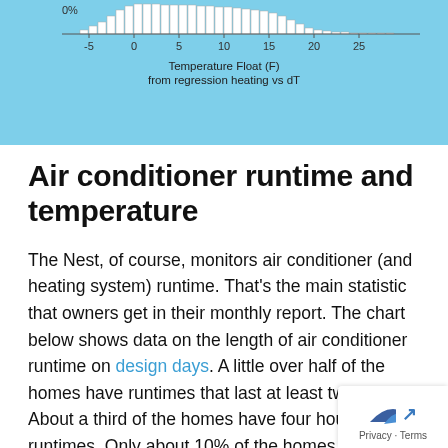[Figure (continuous-plot): Histogram of Temperature Float (F) from regression heating vs dT, x-axis from -5 to 25, y-axis starting at 0%]
Air conditioner runtime and temperature
The Nest, of course, monitors air conditioner (and heating system) runtime. That’s the main statistic that owners get in their monthly report. The chart below shows data on the length of air conditioner runtime on design days. A little over half of the homes have runtimes that last at least two hours. About a third of the homes have four hour runtimes. Only about 10% of the homes have runtimes that last eight hours or more, which means they’re basically running continuously,